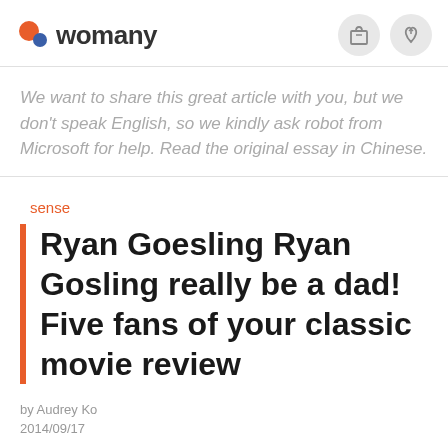womany
We want to share this great article with you, but we don't speak English, so we kindly ask robot from Microsoft for help. Read the original essay in Chinese.
sense
Ryan Goesling Ryan Gosling really be a dad! Five fans of your classic movie review
by Audrey Ko
2014/09/17